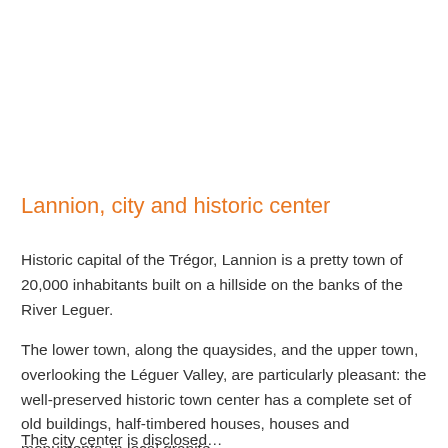Lannion, city and historic center
Historic capital of the Trégor, Lannion is a pretty town of 20,000 inhabitants built on a hillside on the banks of the River Leguer.
The lower town, along the quaysides, and the upper town, overlooking the Léguer Valley, are particularly pleasant: the well-preserved historic town center has a complete set of old buildings, half-timbered houses, houses and monuments. in local granite.
The city center is disclosed…